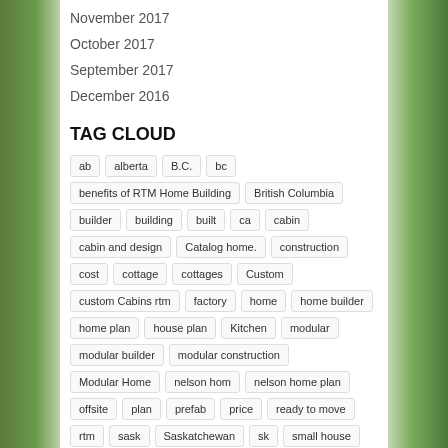November 2017
October 2017
September 2017
December 2016
TAG CLOUD
ab, alberta, B.C., bc, benefits of RTM Home Building, British Columbia, builder, building, built, ca, cabin, cabin and design, Catalog home., construction, cost, cottage, cottages, Custom, custom Cabins rtm, factory, home, home builder, home plan, house plan, Kitchen, modular, modular builder, modular construction, Modular Home, nelson hom, nelson home plan, offsite, plan, prefab, price, ready to move, rtm, sask, Saskatchewan, sk, small house, tiny home